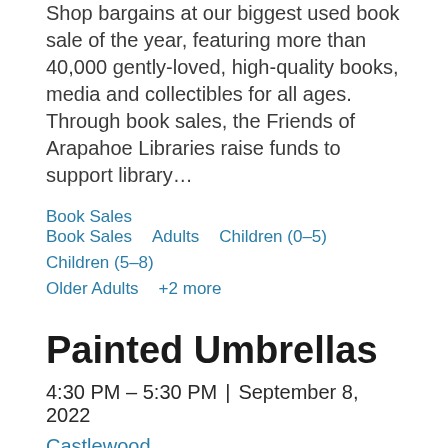Shop bargains at our biggest used book sale of the year, featuring more than 40,000 gently-loved, high-quality books, media and collectibles for all ages. Through book sales, the Friends of Arapahoe Libraries raise funds to support library…
Book Sales
Adults
Children (0–5)
Children (5–8)
Older Adults
+2 more
Painted Umbrellas
4:30 PM – 5:30 PM  |  September 8, 2022
Castlewood
Take a plain umbrella and transform it into a work of art using acrylic paint pens and your creativity to brighten even the gloomiest day.
Registration full